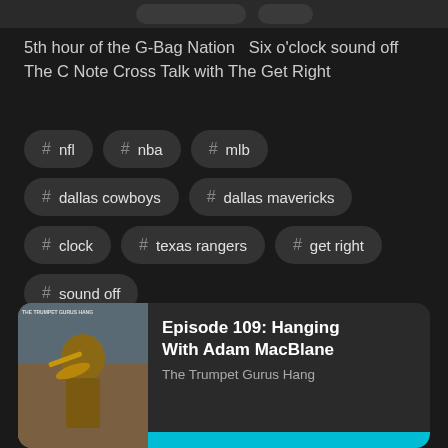5th hour of the G-Bag Nation  Six o'clock sound off  The C Note Cross Talk with The Get Right
# nfl
# nba
# mlb
# dallas cowboys
# dallas mavericks
# clock
# texas rangers
# get right
# sound off
[Figure (screenshot): Podcast episode card for 'Episode 109: Hanging With Adam MacBlane' from The Trumpet Gurus Hang, with thumbnail showing a Buddha statue playing trumpet against a cloudy sky background.]
Episode 109: Hanging With Adam MacBlane
The Trumpet Gurus Hang